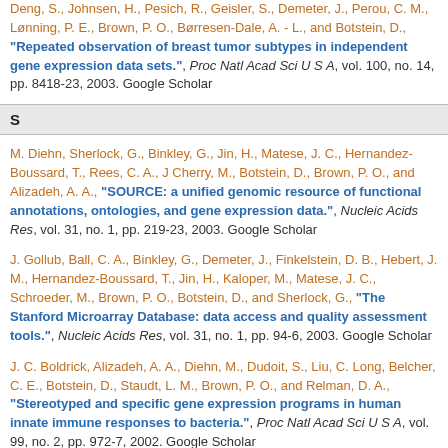Deng, S., Johnsen, H., Pesich, R., Geisler, S., Demeter, J., Perou, C. M., Lønning, P. E., Brown, P. O., Børresen-Dale, A. - L., and Botstein, D., "Repeated observation of breast tumor subtypes in independent gene expression data sets.", Proc Natl Acad Sci U S A, vol. 100, no. 14, pp. 8418-23, 2003. Google Scholar
S
M. Diehn, Sherlock, G., Binkley, G., Jin, H., Matese, J. C., Hernandez-Boussard, T., Rees, C. A., J Cherry, M., Botstein, D., Brown, P. O., and Alizadeh, A. A., "SOURCE: a unified genomic resource of functional annotations, ontologies, and gene expression data.", Nucleic Acids Res, vol. 31, no. 1, pp. 219-23, 2003. Google Scholar
J. Gollub, Ball, C. A., Binkley, G., Demeter, J., Finkelstein, D. B., Hebert, J. M., Hernandez-Boussard, T., Jin, H., Kaloper, M., Matese, J. C., Schroeder, M., Brown, P. O., Botstein, D., and Sherlock, G., "The Stanford Microarray Database: data access and quality assessment tools.", Nucleic Acids Res, vol. 31, no. 1, pp. 94-6, 2003. Google Scholar
J. C. Boldrick, Alizadeh, A. A., Diehn, M., Dudoit, S., Liu, C. Long, Belcher, C. E., Botstein, D., Staudt, L. M., Brown, P. O., and Relman, D. A., "Stereotyped and specific gene expression programs in human innate immune responses to bacteria.", Proc Natl Acad Sci U S A, vol. 99, no. 2, pp. 972-7, 2002. Google Scholar
M. L. Whitfield, Finlay, D. R., Murray, J. Isaac, Troyanskaya, O. G., Chi, J.